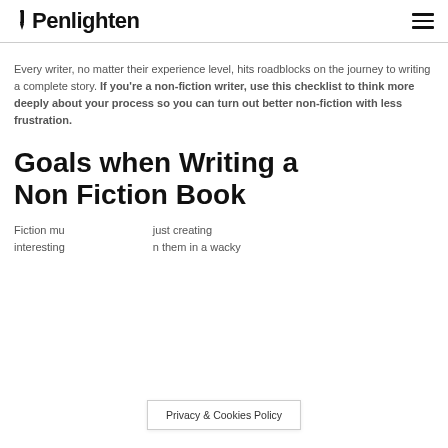Penlighten
Every writer, no matter their experience level, hits roadblocks on the journey to writing a complete story. If you're a non-fiction writer, use this checklist to think more deeply about your process so you can turn out better non-fiction with less frustration.
Goals when Writing a Non Fiction Book
Fiction mu... just creating interesting... them in a wacky